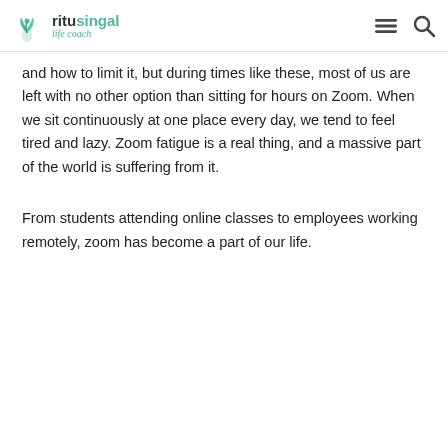ritusingal life coach
and how to limit it, but during times like these, most of us are left with no other option than sitting for hours on Zoom. When we sit continuously at one place every day, we tend to feel tired and lazy. Zoom fatigue is a real thing, and a massive part of the world is suffering from it.
From students attending online classes to employees working remotely, zoom has become a part of our life.